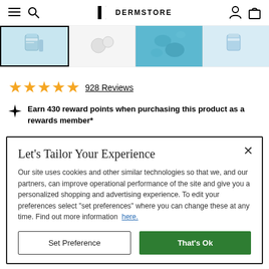Dermstore
[Figure (screenshot): Four product thumbnail images in a row; first is selected with black border showing a skincare product jar, second shows white circular pads, third shows a blue water texture background, fourth shows another skincare jar.]
928 Reviews
Earn 430 reward points when purchasing this product as a rewards member*
Let's Tailor Your Experience
Our site uses cookies and other similar technologies so that we, and our partners, can improve operational performance of the site and give you a personalized shopping and advertising experience. To edit your preferences select "set preferences" where you can change these at any time. Find out more information  here.